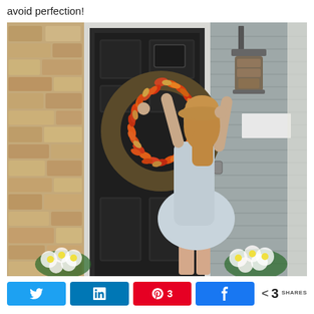avoid perfection!
[Figure (photo): A woman in a light blue dress and tan hat hanging a colorful autumn wreath on a dark front door of a house with stone and grey siding exterior, with white chrysanthemums at the base.]
Twitter share button
LinkedIn share button
Pinterest share button with count 3
Facebook share button
< 3 SHARES